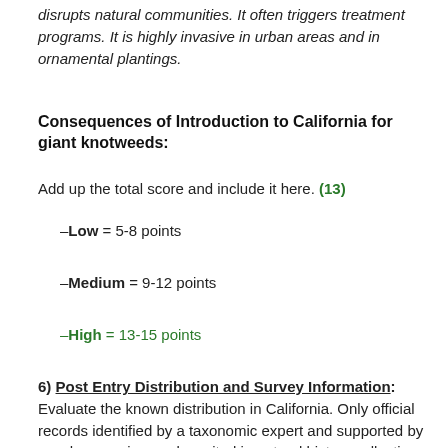disrupts natural communities. It often triggers treatment programs. It is highly invasive in urban areas and in ornamental plantings.
Consequences of Introduction to California for giant knotweeds:
Add up the total score and include it here. (13)
–Low = 5-8 points
–Medium = 9-12 points
–High = 13-15 points
6) Post Entry Distribution and Survey Information: Evaluate the known distribution in California. Only official records identified by a taxonomic expert and supported by voucher specimens deposited in natural history collections should be